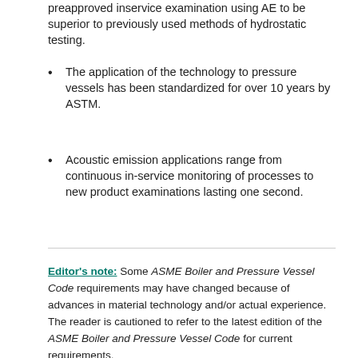preapproved inservice examination using AE to be superior to previously used methods of hydrostatic testing.
The application of the technology to pressure vessels has been standardized for over 10 years by ASTM.
Acoustic emission applications range from continuous in-service monitoring of processes to new product examinations lasting one second.
Editor's note: Some ASME Boiler and Pressure Vessel Code requirements may have changed because of advances in material technology and/or actual experience. The reader is cautioned to refer to the latest edition of the ASME Boiler and Pressure Vessel Code for current requirements.